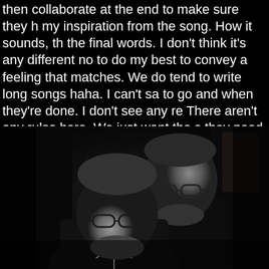then collaborate at the end to make sure they h my inspiration from the song. How it sounds, th the final words. I don't think it's any different no to do my best to convey a feeling that matches. We do tend to write long songs haha. I can't sa to go and when they're done. I don't see any re There aren't any rules here. We just want the s they need to be.
[Figure (photo): Black and white photo of two men with glasses in a dark setting, likely a music studio. One man is in the foreground slightly lower, the other stands behind him.]